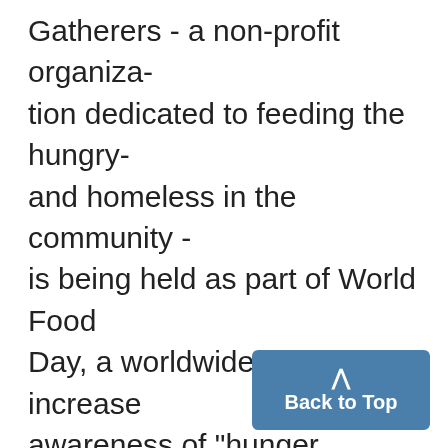Gatherers - a non-profit organization dedicated to feeding the hungry and homeless in the community - is being held as part of World Food Day, a worldwide event to increase awareness of "hunger issues." "The idea is that there is enough food to go around; it just needs to get to the right places," said Director of Food Gatherers Lisa De Young. The 45 restaurants participating have agreed to donate up to seven percent of the day's gross annual sales to Food Gatherers.